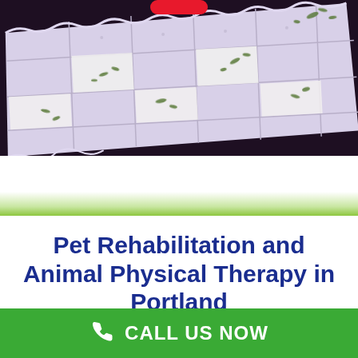[Figure (photo): A quilted fabric mat with small green herbs/plants scattered on white and pale purple/gray quilt squares, set on a dark background]
Pet Rehabilitation and Animal Physical Therapy in Portland
CALL US NOW